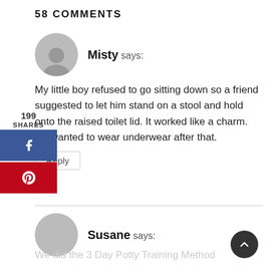58 COMMENTS
Misty says:
My little boy refused to go sitting down so a friend suggested to let him stand on a stool and hold onto the raised toilet lid. It worked like a charm. He wanted to wear underwear after that.
Reply
199
SHARES
Susane says:
We did the 3 Day Potty Training Method